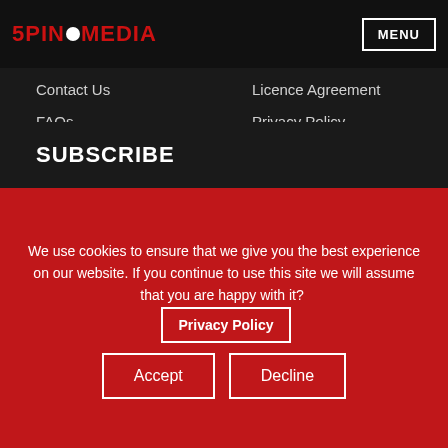[Figure (logo): 5PIN MEDIA logo with red text and white bowling ball dot, plus MENU button in top right]
Contact Us
FAQs
My Account
Basket
Checkout
Licence Agreement
Privacy Policy
Trading Terms & Conditions
Website Terms & Conditions
SUBSCRIBE
We use cookies to ensure that we give you the best experience on our website. If you continue to use this site we will assume that you are happy with it?
Privacy Policy
Accept
Decline